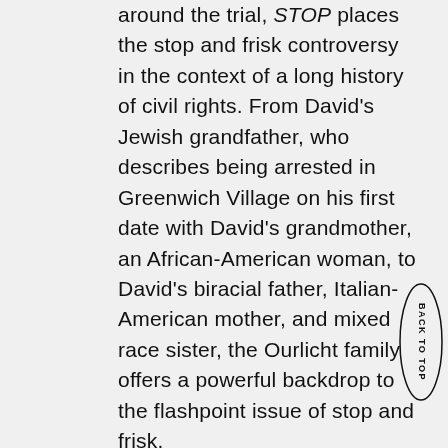around the trial, STOP places the stop and frisk controversy in the context of a long history of civil rights. From David's Jewish grandfather, who describes being arrested in Greenwich Village on his first date with David's grandmother, an African-American woman, to David's biracial father, Italian-American mother, and mixed race sister, the Ourlicht family offers a powerful backdrop to the flashpoint issue of stop and frisk.

The film asks: Must we trade safety for civil rights? From interviews with the lead attorneys bringing in the case, to police officers who defend the practice, to the law